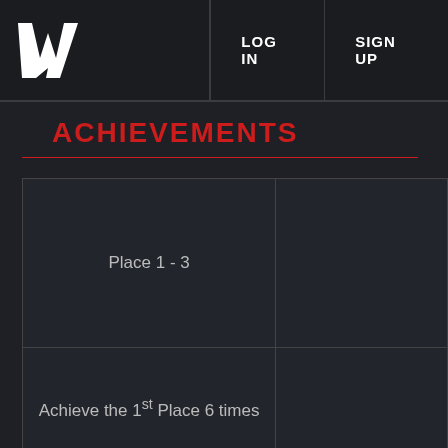LOG IN  SIGN UP
ACHIEVEMENTS
| Description | Image |
| --- | --- |
| Place 1 - 3 |  |
| Achieve the 1st Place 6 times |  |
| Achieve the 2nd Place 6 times |  |